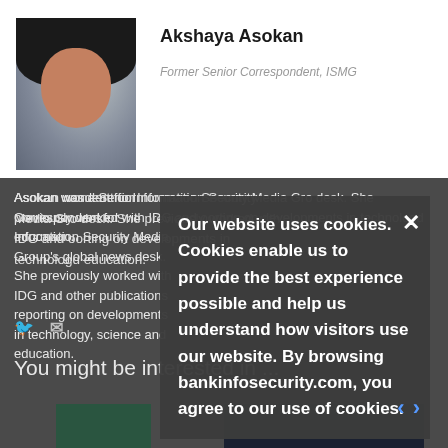[Figure (photo): Headshot photo of Akshaya Asokan, a woman with long dark hair, smiling, wearing a white top, against a blurred grey background.]
Akshaya Asokan
Former Senior Correspondent, ISMG
Asokan was a Senior Correspondent for Information Security Media Group's global news desk. She previously worked with IDG and other publications reporting on developments in technology, science and education.
You might be interested in ...
[Figure (screenshot): Cookie consent overlay banner reading: Our website uses cookies. Cookies enable us to provide the best experience possible and help us understand how visitors use our website. By browsing bankinfosecurity.com, you agree to our use of cookies.]
[Figure (photo): Small thumbnail image with green background, partially visible at bottom left.]
[Figure (photo): Small thumbnail image with dark background, partially visible at bottom right.]